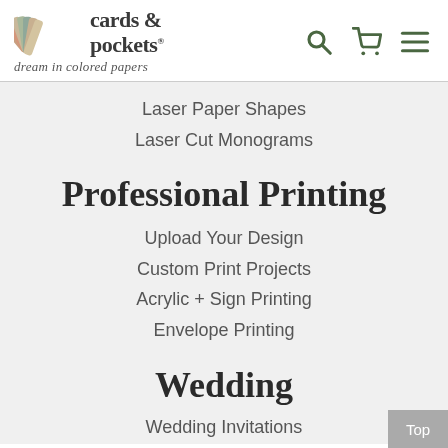[Figure (logo): Cards & Pockets logo with colorful paper fan and tagline 'dream in colored papers']
Laser Paper Shapes
Laser Cut Monograms
Professional Printing
Upload Your Design
Custom Print Projects
Acrylic + Sign Printing
Envelope Printing
Wedding
Wedding Invitations
DIY Invitation Kits